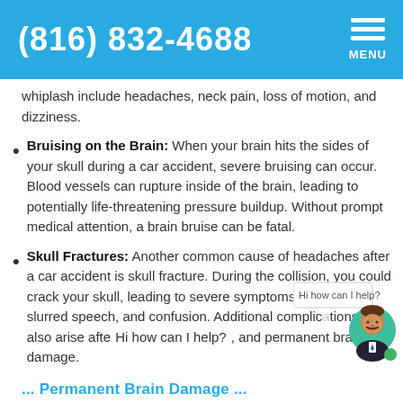(816) 832-4688  MENU
whiplash include headaches, neck pain, loss of motion, and dizziness.
Bruising on the Brain: When your brain hits the sides of your skull during a car accident, severe bruising can occur. Blood vessels can rupture inside of the brain, leading to potentially life-threatening pressure buildup. Without prompt medical attention, a brain bruise can be fatal.
Skull Fractures: Another common cause of headaches after a car accident is skull fracture. During the collision, you could crack your skull, leading to severe symptoms like nausea, slurred speech, and confusion. Additional complications may also arise after, and permanent brain damage.
[Figure (illustration): Chatbot avatar icon (man with mustache in suit) with 'Hi how can I help?' chat bubble overlay]
... Permanent Brain Damage...